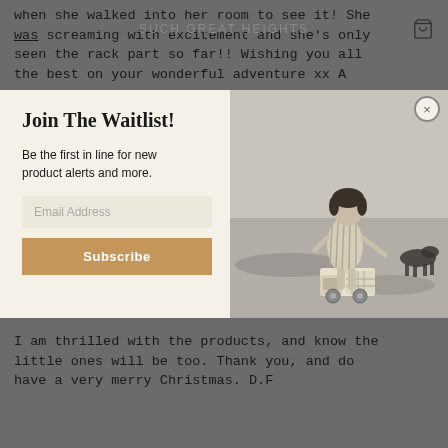when she walked into her room to see it! She was screaming with excitement and she's only seen the rack part so far!! Wishing you all the best on your wonderful adventure xx A
SUCH GREAT HEIGHTS
[Figure (screenshot): Modal popup with Join The Waitlist form on the left (title, description, email input field, Subscribe button) and a black-and-white photo of a young girl in a field with a toy truck and a dog on the right. Close button (X) in top right corner.]
I am thrilled with the products, and know the little ones will be too. Thank you, and do have a very merry Christmas. D.F